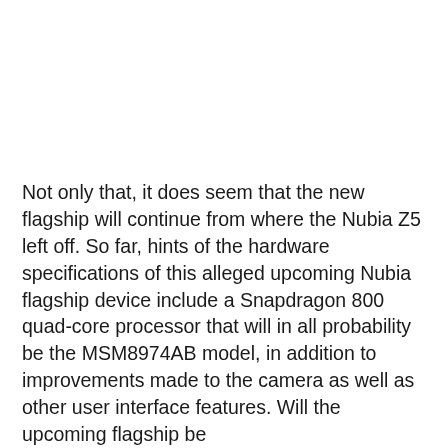Not only that, it does seem that the new flagship will continue from where the Nubia Z5 left off. So far, hints of the hardware specifications of this alleged upcoming Nubia flagship device include a Snapdragon 800 quad-core processor that will in all probability be the MSM8974AB model, in addition to improvements made to the camera as well as other user interface features. Will the upcoming flagship be